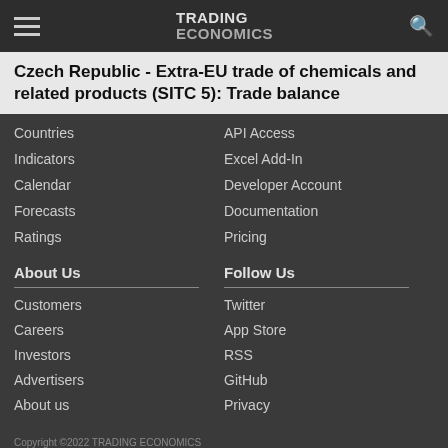TRADING ECONOMICS
Czech Republic - Extra-EU trade of chemicals and related products (SITC 5): Trade balance
Countries
Indicators
Calendar
Forecasts
Ratings
API Access
Excel Add-In
Developer Account
Documentation
Pricing
About Us
Follow Us
Customers
Careers
Investors
Advertisers
About us
Twitter
App Store
RSS
GitHub
Privacy
Copyright ©2022 TRADING ECONOMICS
All Rights Reserved